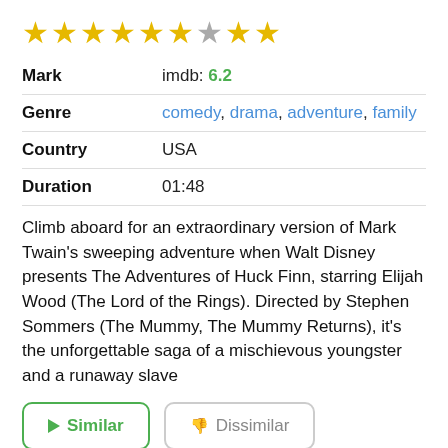[Figure (other): Star rating: 6 filled gold stars, 1 empty/grey star, 2 filled gold stars out of 9 total stars shown]
| Mark | imdb: 6.2 |
| Genre | comedy, drama, adventure, family |
| Country | USA |
| Duration | 01:48 |
Climb aboard for an extraordinary version of Mark Twain's sweeping adventure when Walt Disney presents The Adventures of Huck Finn, starring Elijah Wood (The Lord of the Rings). Directed by Stephen Sommers (The Mummy, The Mummy Returns), it's the unforgettable saga of a mischievous youngster and a runaway slave
Similar
Dissimilar
[Figure (photo): Partial movie still photo at the bottom of the page]